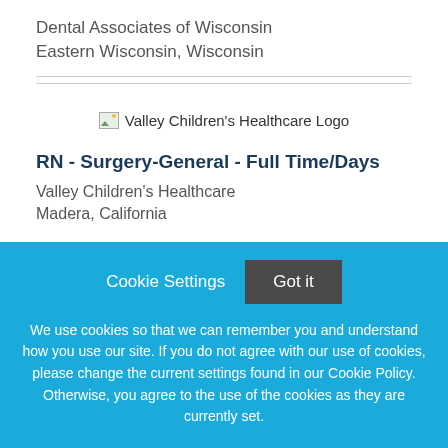Dental Associates of Wisconsin
Eastern Wisconsin, Wisconsin
[Figure (logo): Valley Children's Healthcare Logo (broken image placeholder with text)]
RN - Surgery-General - Full Time/Days
Valley Children's Healthcare
Madera, California
Cookie Settings
Got it
We use cookies so that we can remember you and understand how you use our site. If you do not agree with our use of cookies, please change the current settings found in our Cookie Policy. Otherwise, you agree to the use of the cookies as they are currently set.